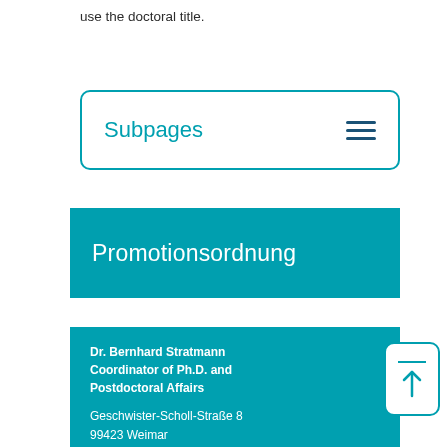use the doctoral title.
Subpages
Promotionsordnung
Dr. Bernhard Stratmann
Coordinator of Ph.D. and Postdoctoral Affairs

Geschwister-Scholl-Straße 8
99423 Weimar